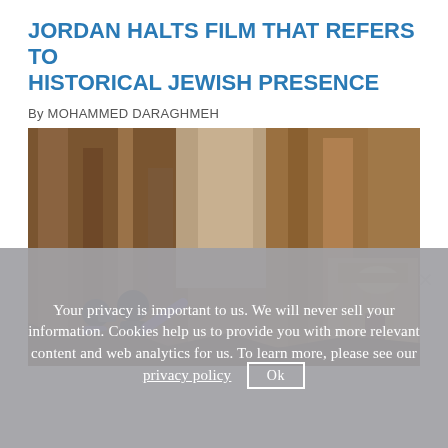JORDAN HALTS FILM THAT REFERS TO HISTORICAL JEWISH PRESENCE
By MOHAMMED DARAGHMEH
[Figure (photo): Aerial view of Petra, Jordan rocky canyon cliffs with carved facade visible at lower right; two figures in foreground pointing toward the scene.]
Your privacy is important to us. We will never sell your information. Cookies help us to provide you with more relevant content and web analytics for us. To learn more, please see our privacy policy   Ok